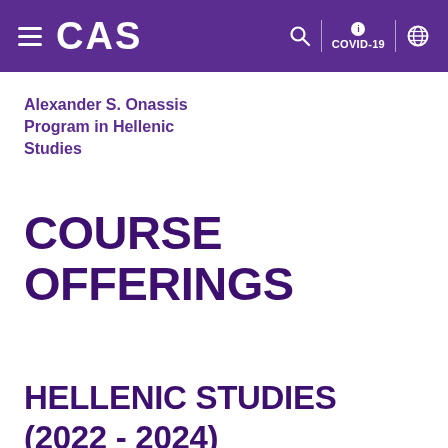CAS
Alexander S. Onassis Program in Hellenic Studies
COURSE OFFERINGS
HELLENIC STUDIES (2022 - 2024)